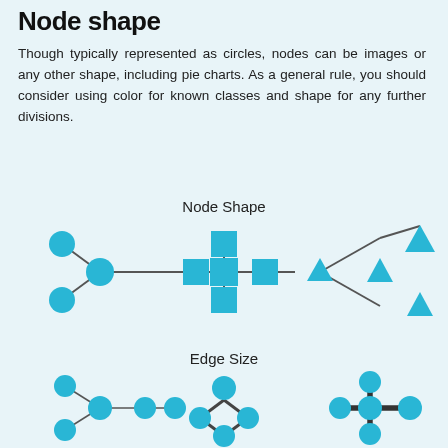Node shape
Though typically represented as circles, nodes can be images or any other shape, including pie charts. As a general rule, you should consider using color for known classes and shape for any further divisions.
Node Shape
[Figure (network-graph): Network diagram showing three node shapes: circles (blue filled circles), squares (blue filled squares arranged in a ring), and triangles (blue filled triangles). Nodes are connected by gray lines.]
Edge Size
[Figure (network-graph): Network diagram showing nodes connected by edges of varying thickness/size, all nodes are blue filled circles.]